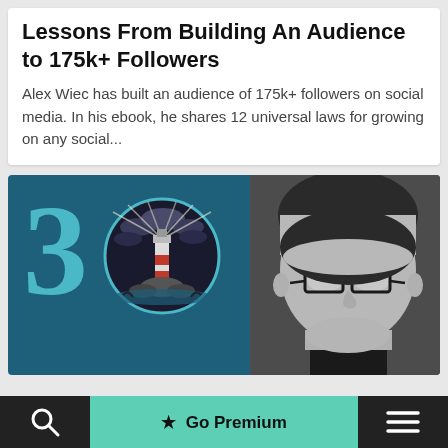Lessons From Building An Audience to 175k+ Followers
Alex Wiec has built an audience of 175k+ followers on social media. In his ebook, he shares 12 universal laws for growing on any social...
[Figure (illustration): Composite image: teal/dark blue background with large '30' in teal numerals and a circular lighthouse illustration on the left half; black and white portrait photo of a man with glasses on the right half]
★  Go Premium